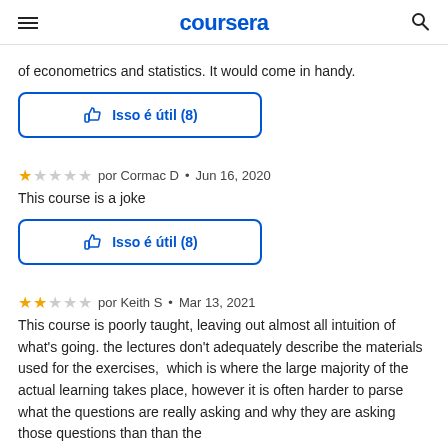coursera
of econometrics and statistics. It would come in handy.
[Figure (other): Button: thumbs up icon with text 'Isso é útil (8)' in blue, bordered rectangle]
1 star por Cormac D • Jun 16, 2020
This course is a joke
[Figure (other): Button: thumbs up icon with text 'Isso é útil (8)' in blue, bordered rectangle]
2 stars por Keith S • Mar 13, 2021
This course is poorly taught, leaving out almost all intuition of what's going. the lectures don't adequately describe the materials used for the exercises, which is where the large majority of the actual learning takes place, however it is often harder to parse what the questions are really asking and why they are asking those questions than than the